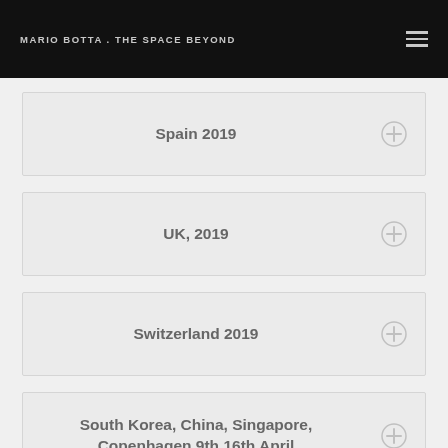MARIO BOTTA . THE SPACE BEYOND
Spain 2019
UK, 2019
Switzerland 2019
South Korea, China, Singapore, Copenhagen 9th 16th April